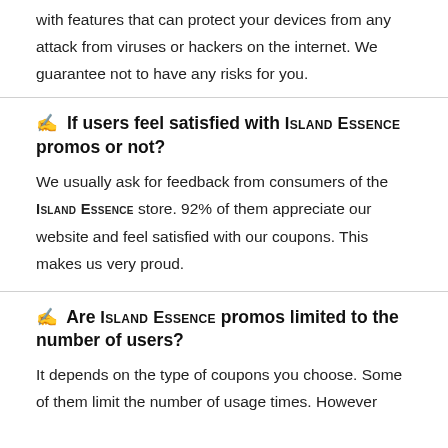with features that can protect your devices from any attack from viruses or hackers on the internet. We guarantee not to have any risks for you.
✍️ If users feel satisfied with ISLAND ESSENCE promos or not?
We usually ask for feedback from consumers of the ISLAND ESSENCE store. 92% of them appreciate our website and feel satisfied with our coupons. This makes us very proud.
✍️ Are ISLAND ESSENCE promos limited to the number of users?
It depends on the type of coupons you choose. Some of them limit the number of usage times. However